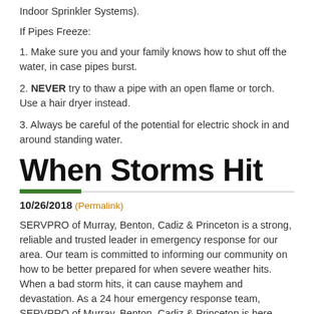Indoor Sprinkler Systems).
If Pipes Freeze:
1. Make sure you and your family knows how to shut off the water, in case pipes burst.
2. NEVER try to thaw a pipe with an open flame or torch. Use a hair dryer instead.
3. Always be careful of the potential for electric shock in and around standing water.
When Storms Hit
10/26/2018 (Permalink)
SERVPRO of Murray, Benton, Cadiz & Princeton is a strong, reliable and trusted leader in emergency response for our area. Our team is committed to informing our community on how to be better prepared for when severe weather hits. When a bad storm hits, it can cause mayhem and devastation. As a 24 hour emergency response team, SERVPRO of Murray, Benton, Cadiz & Princeton is here whenever you may need them. Our teams provide